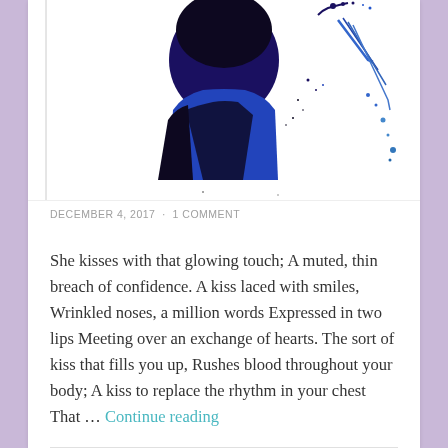[Figure (illustration): Abstract watercolor/ink artwork of a human silhouette in dark blue and black with ink splatter effects on white background]
DECEMBER 4, 2017  ·  1 COMMENT
She kisses with that glowing touch; A muted, thin breach of confidence. A kiss laced with smiles, Wrinkled noses, a million words Expressed in two lips Meeting over an exchange of hearts. The sort of kiss that fills you up, Rushes blood throughout your body; A kiss to replace the rhythm in your chest That … Continue reading